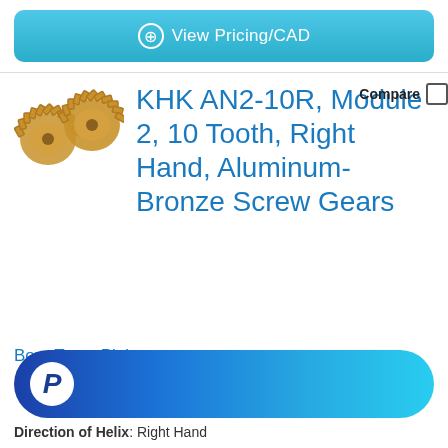View Pricing/CAD
KHK AN2-10R, Module 2, 10 Tooth, Right Hand, Aluminum-Bronze Screw Gears
Compare
[Figure (photo): Two aluminum-bronze screw gears shown from an angle, gold/bronze colored helical gears]
Bore Type: Plain
[Figure (logo): PayPal button with P logo on gradient blue rounded rectangle]
Direction of Helix: Right Hand